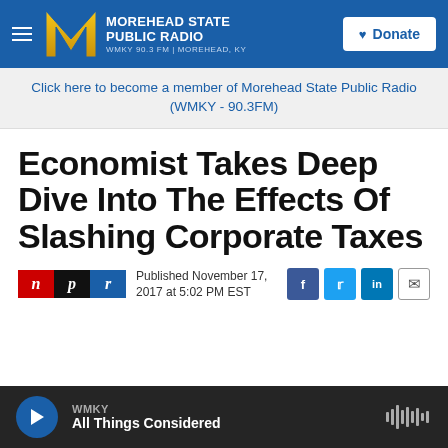MOREHEAD STATE PUBLIC RADIO WMKY 90.3 FM | MOREHEAD, KY
Click here to become a member of Morehead State Public Radio (WMKY - 90.3FM)
Economist Takes Deep Dive Into The Effects Of Slashing Corporate Taxes
Published November 17, 2017 at 5:02 PM EST
WMKY
All Things Considered